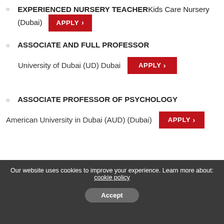EXPERIENCED NURSERY TEACHER Kids Care Nursery (Dubai) APPLY
ASSOCIATE AND FULL PROFESSOR
University of Dubai (UD) Dubai APPLY
ASSOCIATE PROFESSOR OF PSYCHOLOGY
American University in Dubai (AUD) (Dubai) APPLY
Our website uses cookies to improve your experience. Learn more about: cookie policy
Accept